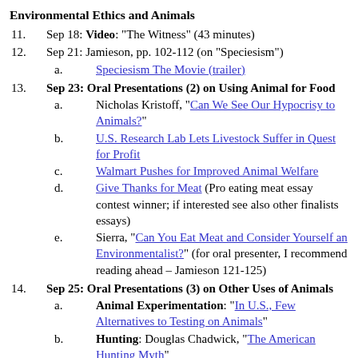Environmental Ethics and Animals
11. Sep 18: Video: "The Witness" (43 minutes)
12. Sep 21: Jamieson, pp. 102-112 (on "Speciesism")
a. Speciesism The Movie (trailer)
13. Sep 23: Oral Presentations (2) on Using Animal for Food
a. Nicholas Kristoff, "Can We See Our Hypocrisy to Animals?"
b. U.S. Research Lab Lets Livestock Suffer in Quest for Profit
c. Walmart Pushes for Improved Animal Welfare
d. Give Thanks for Meat (Pro eating meat essay contest winner; if interested see also other finalists essays)
e. Sierra, "Can You Eat Meat and Consider Yourself an Environmentalist?" (for oral presenter, I recommend reading ahead – Jamieson 121-125)
14. Sep 25: Oral Presentations (3) on Other Uses of Animals
a. Animal Experimentation: "In U.S., Few Alternatives to Testing on Animals"
b. Hunting: Douglas Chadwick, "The American Hunting Myth"
c. Fishing: If Fish Could Scream (Peter Singer on Fishing Methods)
d. Zoos: Susan Freinkel, "Why I Still Believe in the Zoo,"